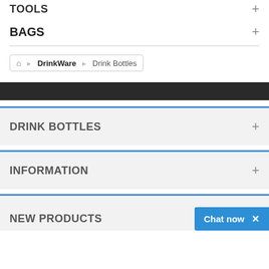TOOLS
BAGS
Home > DrinkWare > Drink Bottles
DRINK BOTTLES
INFORMATION
NEW PRODUCTS
Chat now